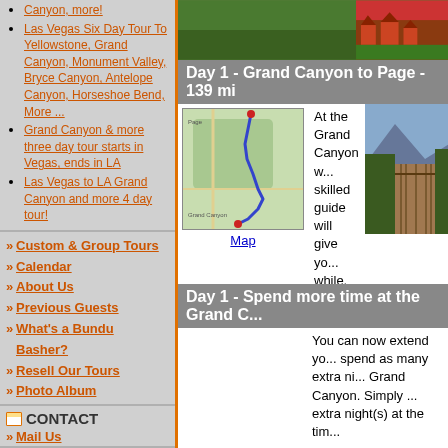Canyon, more!
Las Vegas Six Day Tour To Yellowstone, Grand Canyon, Monument Valley, Bryce Canyon, Antelope Canyon, Horseshoe Bend, More ...
Grand Canyon & more three day tour starts in Vegas, ends in LA
Las Vegas to LA Grand Canyon and more 4 day tour!
Custom & Group Tours
Calendar
About Us
Previous Guests
What's a Bundu Basher?
Resell Our Tours
Photo Album
CONTACT
Mail Us
TELEPHONE
(USA) 435 658 2227
[Figure (map): Road map showing route from Grand Canyon to Page, AZ with blue route line]
Map
Day 1  -  Grand Canyon to Page  -  139 mi
At the Grand Canyon w... skilled guide will give yo... while. You can stroll arc...
[Figure (photo): Photo of a walkway/boardwalk at Grand Canyon with mountains in background]
Day 1  -  Spend more time at the Grand C...
You can now extend yo... spend as many extra ni... Grand Canyon. Simply ... extra night(s) at the tim...
The way it works is that... into your hotel. We alwa... but this is often a matte...